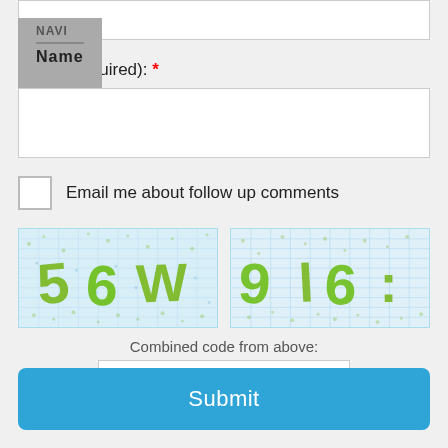NAVI
Name (required): *
Email me about follow up comments
[Figure (other): CAPTCHA image showing distorted text '56W' on a light blue dotted background with green letters]
[Figure (other): CAPTCHA image showing distorted text '9l6:' on a light blue grid background with green letters]
Combined code from above:
Submit